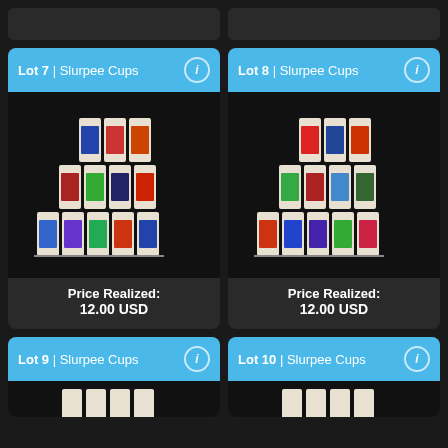[Figure (other): Partial top bar images (tops of lot cards cut off at page top)]
Lot 7 | Slurpee Cups
[Figure (photo): Photo of a collection of Marvel Slurpee cups arranged in a pyramid/triangle display on a dark background]
Price Realized:
12.00 USD
Lot 8 | Slurpee Cups
[Figure (photo): Photo of a collection of Marvel Slurpee cups arranged in a pyramid/triangle display on a dark background]
Price Realized:
12.00 USD
Lot 9 | Slurpee Cups
Lot 10 | Slurpee Cups